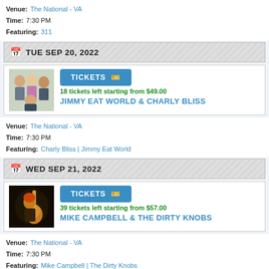Venue: The National - VA
Time: 7:30 PM
Featuring: 311
TUE SEP 20, 2022
[Figure (photo): Group photo of band members for Jimmy Eat World & Charly Bliss]
TICKETS
18 tickets left starting from $49.00
JIMMY EAT WORLD & CHARLY BLISS
Venue: The National - VA
Time: 7:30 PM
Featuring: Charly Bliss | Jimmy Eat World
WED SEP 21, 2022
[Figure (photo): Photo of musician with guitar for Mike Campbell & The Dirty Knobs]
TICKETS
39 tickets left starting from $57.00
MIKE CAMPBELL & THE DIRTY KNOBS
Venue: The National - VA
Time: 7:30 PM
Featuring: Mike Campbell | The Dirty Knobs
FRI SEP 23, 2022